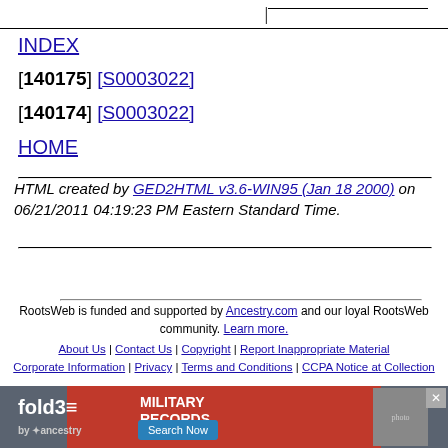INDEX
[140175] [S0003022]
[140174] [S0003022]
HOME
HTML created by GED2HTML v3.6-WIN95 (Jan 18 2000) on 06/21/2011 04:19:23 PM Eastern Standard Time.
RootsWeb is funded and supported by Ancestry.com and our loyal RootsWeb community. Learn more.
About Us | Contact Us | Copyright | Report Inappropriate Material | Corporate Information | Privacy | Terms and Conditions | CCPA Notice at Collection
[Figure (infographic): Fold3 Military Records advertisement banner with red background, logo, and Search Now button]